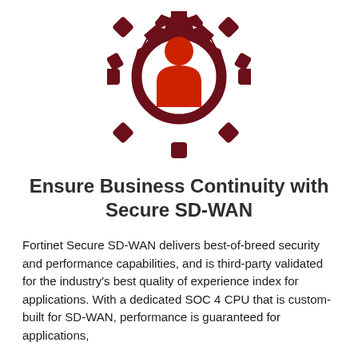[Figure (illustration): A dark red gear/cog icon with a red person/user silhouette in the center, representing managed services or IT administration]
Ensure Business Continuity with Secure SD-WAN
Fortinet Secure SD-WAN delivers best-of-breed security and performance capabilities, and is third-party validated for the industry's best quality of experience index for applications. With a dedicated SOC 4 CPU that is custom-built for SD-WAN, performance is guaranteed for applications,